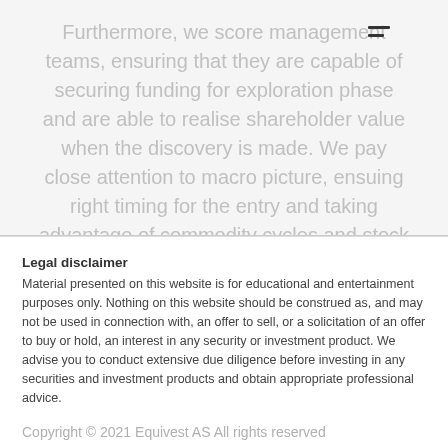Furthermore, we score management teams, ensuring that they are capable of securing funding for exploration phase and are able to realise shareholder value when the discovery is made. We pay close attention to macro picture, ensuing right timing for the entry and taking advantage of commodity cycles and stock momentum to de-risk our investments.
Legal disclaimer
Material presented on this website is for educational and entertainment purposes only. Nothing on this website should be construed as, and may not be used in connection with, an offer to sell, or a solicitation of an offer to buy or hold, an interest in any security or investment product. We advise you to conduct extensive due diligence before investing in any securities and investment products and obtain appropriate professional advice.
Copyright © 2021 Equivest AS All rights reserved